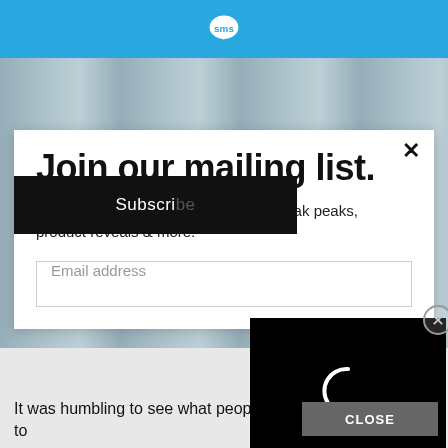[Figure (logo): SMS logo icon in white on blue speech bubble, in blue header bar]
[Figure (photo): Background photo of grocery store shelves with canned goods, muted/faded]
Join our mailing list.
Be the first to receive new recipes, sneak peaks, product reveals & more.
Email address
Subscribe
[Figure (screenshot): Black video player overlay with circular loading spinner]
CLOSE
It was humbling to see what people rely on month to month to